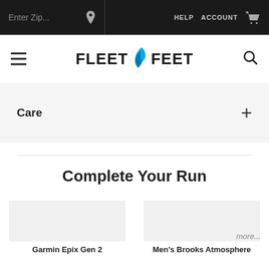Enter Zip...  HELP  ACCOUNT
[Figure (logo): Fleet Feet logo with flame icon between FLEET and FEET text]
Care
Complete Your Run
more...
Garmin Epix Gen 2
Men's Brooks Atmosphere